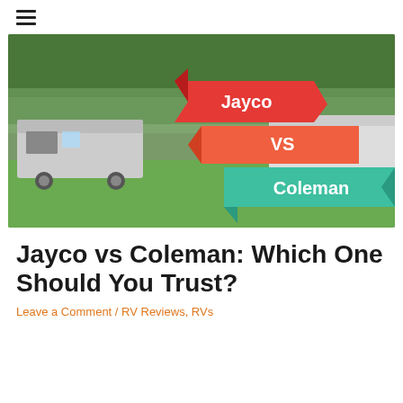≡
[Figure (photo): Hero image showing RVs/trailers parked on green grass with trees in background. Overlaid graphic design shows staggered ribbon banners: red banner labeled 'Jayco', orange banner labeled 'VS', and teal/green banner labeled 'Coleman'.]
Jayco vs Coleman: Which One Should You Trust?
Leave a Comment / RV Reviews, RVs